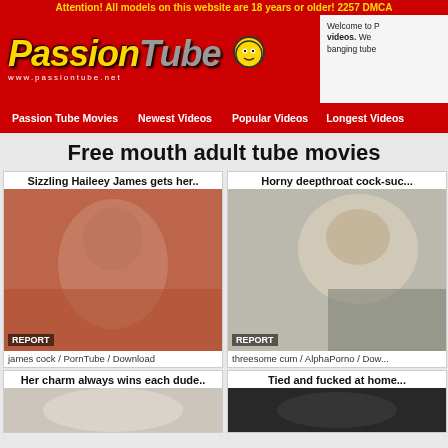Attention! All models on this website are 18 years or older! 2257 DMCA
[Figure (logo): PassionTube logo with www.passiontube.net URL and welcome text box]
Passion Tube Movies | Newest Videos | Popular Videos | Longest Videos
Free mouth adult tube movies
Sizzling Haileey James gets her..
[Figure (photo): Video thumbnail 1 - brown haired woman]
james cock / PornTube / Download
Horny deepthroat cock-suc..
[Figure (photo): Video thumbnail 2 - blonde woman]
threesome cum / AlphaPorno / Down...
Her charm always wins each dude..
Tied and fucked at home...